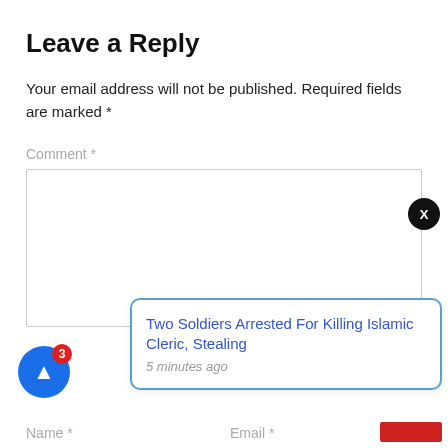Leave a Reply
Your email address will not be published. Required fields are marked *
Comment *
[Figure (screenshot): Empty comment text area input box with grey border]
Two Soldiers Arrested For Killing Islamic Cleric, Stealing
5 minutes ago
Name *
Email *